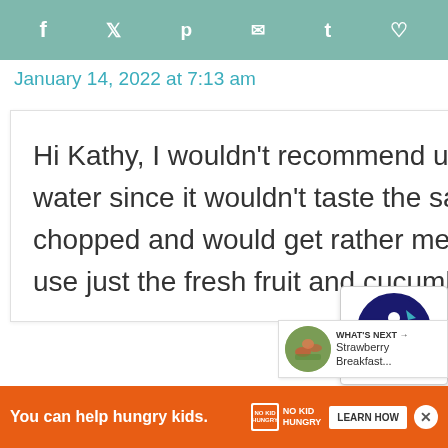f  y  p  ✉  t  ♡
January 14, 2022 at 7:13 am
Hi Kathy, I wouldn't recommend using dried herbs in this infused water since it wouldn't taste the same and dried basil is usually chopped and would get rather messy. Instead of basil, you can use just the fresh fruit and cucumber and maybe some lime
[Figure (screenshot): Accessibility widget button with circular blue icon and person symbol, with 428 share count below]
[Figure (screenshot): WHAT'S NEXT arrow with Strawberry Breakfast... thumbnail]
[Figure (screenshot): Orange ad bar: You can help hungry kids. No Kid Hungry logo. LEARN HOW button. Close X button.]